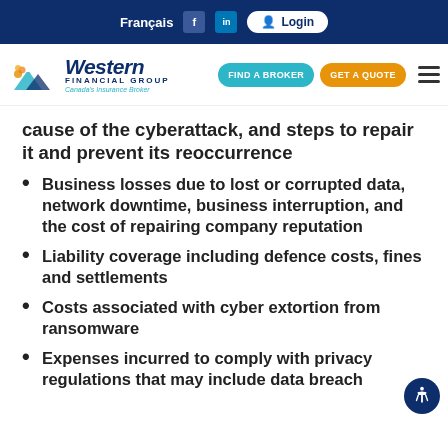Français | Login — Western Financial Group — FIND A BROKER | GET A QUOTE
cause of the cyberattack, and steps to repair it and prevent its reoccurrence
Business losses due to lost or corrupted data, network downtime, business interruption, and the cost of repairing company reputation
Liability coverage including defence costs, fines and settlements
Costs associated with cyber extortion from ransomware
Expenses incurred to comply with privacy regulations that may include data breach